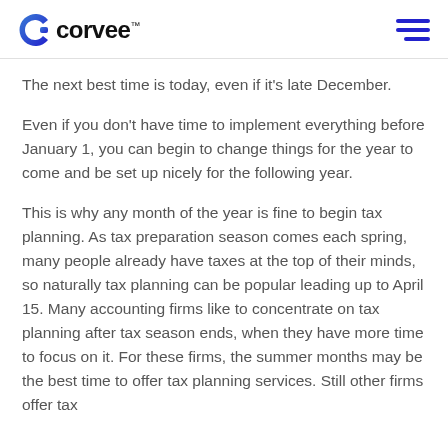corvee
The next best time is today, even if it's late December.
Even if you don't have time to implement everything before January 1, you can begin to change things for the year to come and be set up nicely for the following year.
This is why any month of the year is fine to begin tax planning. As tax preparation season comes each spring, many people already have taxes at the top of their minds, so naturally tax planning can be popular leading up to April 15. Many accounting firms like to concentrate on tax planning after tax season ends, when they have more time to focus on it. For these firms, the summer months may be the best time to offer tax planning services. Still other firms offer tax